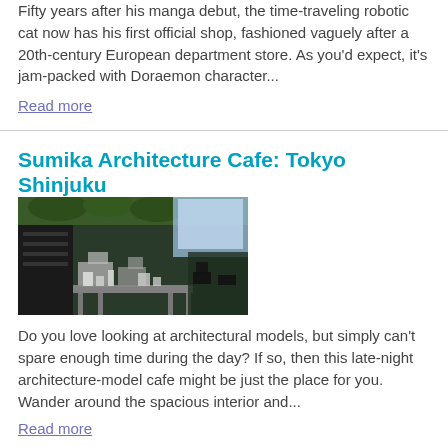Fifty years after his manga debut, the time-traveling robotic cat now has his first official shop, fashioned vaguely after a 20th-century European department store. As you'd expect, it's jam-packed with Doraemon character...
Read more
Sumika Architecture Cafe: Tokyo Shinjuku
[Figure (photo): Interior of Sumika Architecture Cafe in Tokyo Shinjuku, showing architectural models and a spacious cafe interior with greenery and display shelves.]
Do you love looking at architectural models, but simply can't spare enough time during the day? If so, then this late-night architecture-model cafe might be just the place for you. Wander around the spacious interior and...
Read more
21_21 Design Sight: Tokyo Roppongi